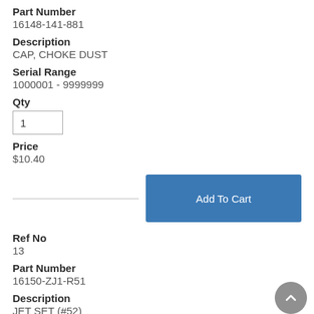Part Number
16148-141-881
Description
CAP, CHOKE DUST
Serial Range
1000001 - 9999999
Qty
1
Price
$10.40
Add To Cart
Ref No
13
Part Number
16150-ZJ1-R51
Description
JET SET (#52)
Serial Range
1000001 - 9999999